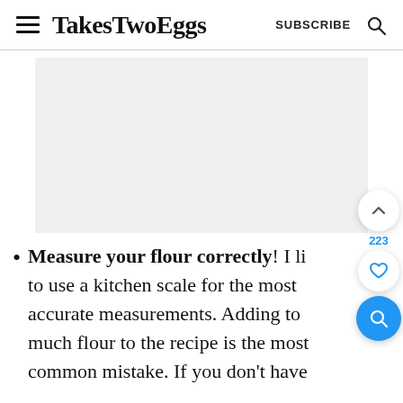TakesTwoEggs | SUBSCRIBE
[Figure (photo): Placeholder image area (light gray), partially visible food/recipe photo]
Measure your flour correctly! I like to use a kitchen scale for the most accurate measurements. Adding too much flour to the recipe is the most common mistake. If you don't have